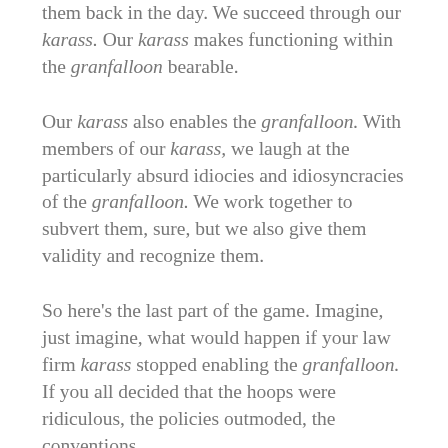them back in the day. We succeed through our karass. Our karass makes functioning within the granfalloon bearable.
Our karass also enables the granfalloon. With members of our karass, we laugh at the particularly absurd idiocies and idiosyncracies of the granfalloon. We work together to subvert them, sure, but we also give them validity and recognize them.
So here's the last part of the game. Imagine, just imagine, what would happen if your law firm karass stopped enabling the granfalloon. If you all decided that the hoops were ridiculous, the policies outmoded, the conventions